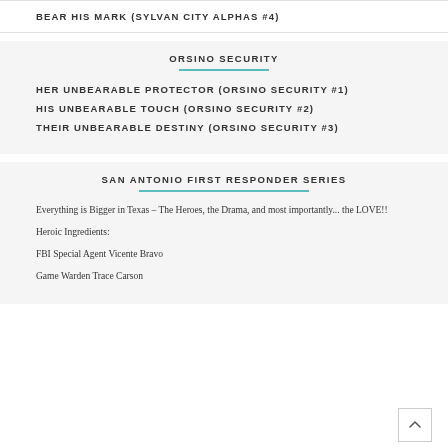BEAR HIS MARK (SYLVAN CITY ALPHAS #4)
ORSINO SECURITY
HER UNBEARABLE PROTECTOR (ORSINO SECURITY #1)
HIS UNBEARABLE TOUCH (ORSINO SECURITY #2)
THEIR UNBEARABLE DESTINY (ORSINO SECURITY #3)
SAN ANTONIO FIRST RESPONDER SERIES
Everything is Bigger in Texas – The Heroes, the Drama, and most importantly... the LOVE!!
Heroic Ingredients:
FBI Special Agent Vicente Bravo
Game Warden Trace Carson